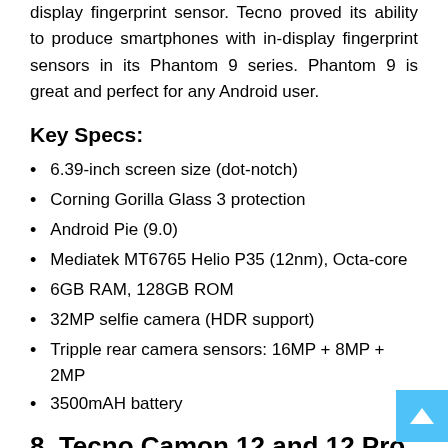display fingerprint sensor. Tecno proved its ability to produce smartphones with in-display fingerprint sensors in its Phantom 9 series. Phantom 9 is great and perfect for any Android user.
Key Specs:
6.39-inch screen size (dot-notch)
Corning Gorilla Glass 3 protection
Android Pie (9.0)
Mediatek MT6765 Helio P35 (12nm), Octa-core
6GB RAM, 128GB ROM
32MP selfie camera (HDR support)
Tripple rear camera sensors: 16MP + 8MP + 2MP
3500mAH battery
8. Tecno Camon 12 and 12 Pro